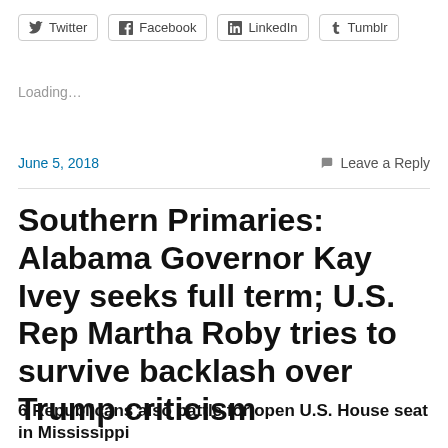Twitter | Facebook | LinkedIn | Tumblr
Loading…
June 5, 2018   Leave a Reply
Southern Primaries: Alabama Governor Kay Ivey seeks full term; U.S. Rep Martha Roby tries to survive backlash over Trump criticism
6 Republicans also battle for open U.S. House seat in Mississippi